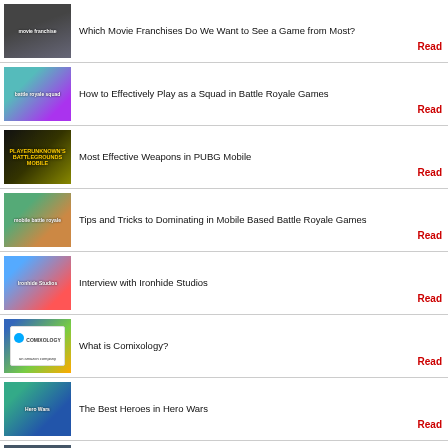Which Movie Franchises Do We Want to See a Game from Most?
How to Effectively Play as a Squad in Battle Royale Games
Most Effective Weapons in PUBG Mobile
Tips and Tricks to Dominating in Mobile Based Battle Royale Games
Interview with Ironhide Studios
What is Comixology?
The Best Heroes in Hero Wars
Things we would like to see in